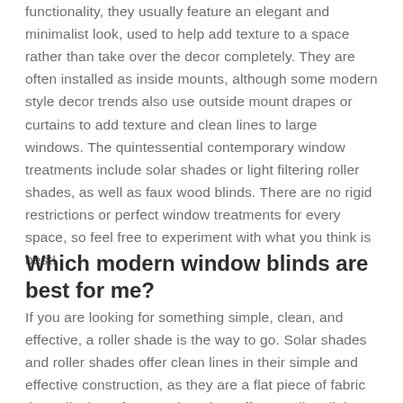functionality, they usually feature an elegant and minimalist look, used to help add texture to a space rather than take over the decor completely. They are often installed as inside mounts, although some modern style decor trends also use outside mount drapes or curtains to add texture and clean lines to large windows. The quintessential contemporary window treatments include solar shades or light filtering roller shades, as well as faux wood blinds. There are no rigid restrictions or perfect window treatments for every space, so feel free to experiment with what you think is best!
Which modern window blinds are best for me?
If you are looking for something simple, clean, and effective, a roller shade is the way to go. Solar shades and roller shades offer clean lines in their simple and effective construction, as they are a flat piece of fabric that rolls down from a tube. They offer excellent light control and energy efficiency, and with a blackout roller shade material, you can get complete light